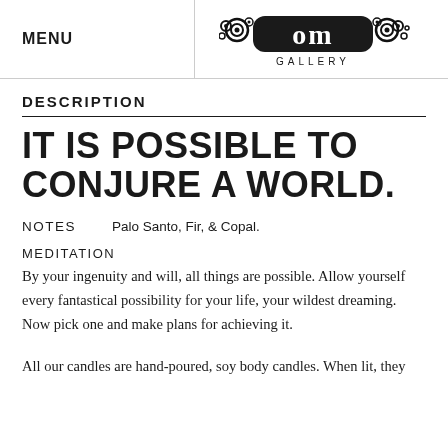MENU
[Figure (logo): Om Gallery decorative logo with swirl patterns and text 'GALLERY' below]
DESCRIPTION
IT IS POSSIBLE TO CONJURE A WORLD.
NOTES   Palo Santo, Fir, & Copal.
MEDITATION
By your ingenuity and will, all things are possible. Allow yourself every fantastical possibility for your life, your wildest dreaming. Now pick one and make plans for achieving it.
All our candles are hand-poured, soy body candles. When lit, they